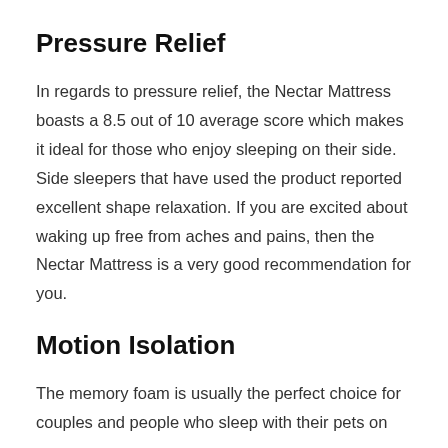Pressure Relief
In regards to pressure relief, the Nectar Mattress boasts a 8.5 out of 10 average score which makes it ideal for those who enjoy sleeping on their side. Side sleepers that have used the product reported excellent shape relaxation. If you are excited about waking up free from aches and pains, then the Nectar Mattress is a very good recommendation for you.
Motion Isolation
The memory foam is usually the perfect choice for couples and people who sleep with their pets on